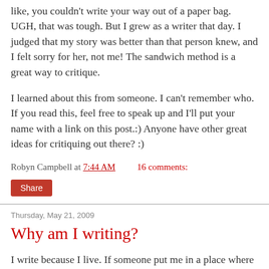like, you couldn't write your way out of a paper bag. UGH, that was tough. But I grew as a writer that day. I judged that my story was better than that person knew, and I felt sorry for her, not me! The sandwich method is a great way to critique.
I learned about this from someone. I can't remember who. If you read this, feel free to speak up and I'll put your name with a link on this post.:) Anyone have other great ideas for critiquing out there? :)
Robyn Campbell at 7:44 AM    16 comments:
Share
Thursday, May 21, 2009
Why am I writing?
I write because I live. If someone put me in a place where there were no computers, no pens, no pencils, I wonder if I could live like that. It's a hunger. If I couldn't write, where would I put all of those characters in my head? I'm talking